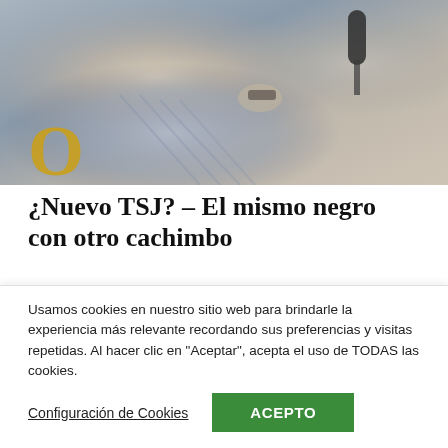[Figure (photo): Photograph of a man in a plaid/checkered shirt speaking into a microphone, with another person visible to the right. A large gold letter O is overlaid in the bottom-left corner of the image.]
¿Nuevo TSJ? – El mismo negro con otro cachimbo
El reciclaje de peripecias y personajes de la tiranía usurpadora del poder en Venezuela raya en lo aburrido, no hacen...
Por José El Gato Briceno / Opinión , abril 5, 2022
Usamos cookies en nuestro sitio web para brindarle la experiencia más relevante recordando sus preferencias y visitas repetidas. Al hacer clic en "Aceptar", acepta el uso de TODAS las cookies.
Configuración de Cookies   ACEPTO